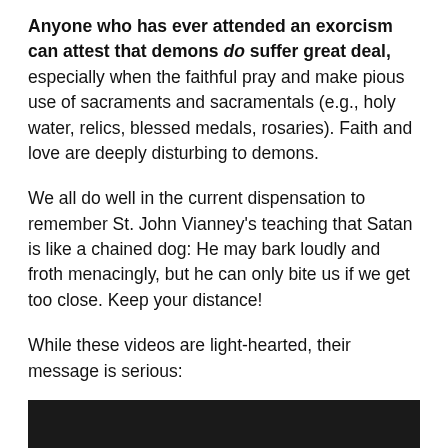Anyone who has ever attended an exorcism can attest that demons do suffer great deal, especially when the faithful pray and make pious use of sacraments and sacramentals (e.g., holy water, relics, blessed medals, rosaries). Faith and love are deeply disturbing to demons.
We all do well in the current dispensation to remember St. John Vianney's teaching that Satan is like a chained dog: He may bark loudly and froth menacingly, but he can only bite us if we get too close. Keep your distance!
While these videos are light-hearted, their message is serious:
[Figure (screenshot): A dark/black video player placeholder rectangle]